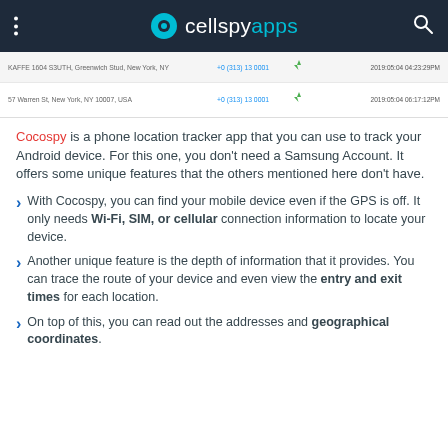cellspyapps
[Figure (screenshot): Screenshot of a location tracking app showing two rows: KAFFE 1604 S3UTH, Greenwich Stud, New York, NY with phone number and date 2019:05:04 04:23:29PM; and 57 Warren St, New York, NY 10007, USA with phone number and date 2019:05:04 06:17:12PM]
Cocospy is a phone location tracker app that you can use to track your Android device. For this one, you don't need a Samsung Account. It offers some unique features that the others mentioned here don't have.
With Cocospy, you can find your mobile device even if the GPS is off. It only needs Wi-Fi, SIM, or cellular connection information to locate your device.
Another unique feature is the depth of information that it provides. You can trace the route of your device and even view the entry and exit times for each location.
On top of this, you can read out the addresses and geographical coordinates.